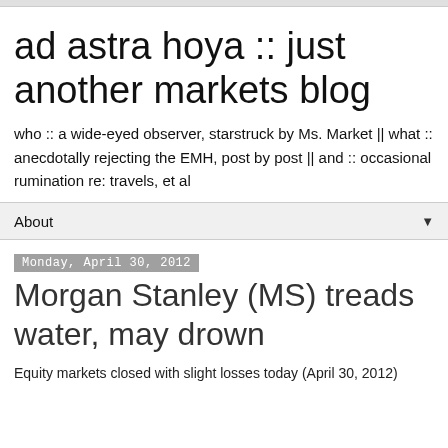ad astra hoya :: just another markets blog
who :: a wide-eyed observer, starstruck by Ms. Market || what :: anecdotally rejecting the EMH, post by post || and :: occasional rumination re: travels, et al
About
Monday, April 30, 2012
Morgan Stanley (MS) treads water, may drown
Equity markets closed with slight losses today (April 30, 2012)